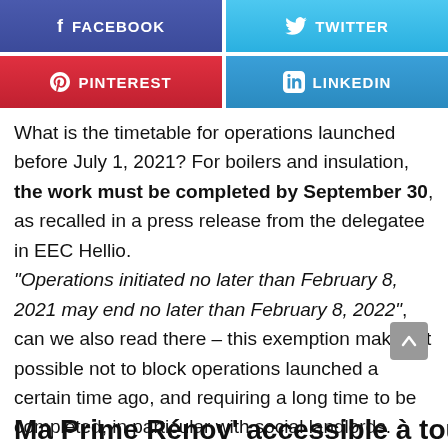[Figure (infographic): Social media share buttons: Facebook (blue-purple), Twitter (blue), Pinterest (red), LinkedIn (blue)]
What is the timetable for operations launched before July 1, 2021? For boilers and insulation, the work must be completed by September 30, as recalled in a press release from the delegatee in EEC Hellio. “Operations initiated no later than February 8, 2021 may end no later than February 8, 2022”, can we also read there – this exemption making it possible not to block operations launched a certain time ago, and requiring a long time to be completed, in particular with social landlords.
[Figure (other): Scroll-to-top button (grey rounded square with upward arrow)]
Ma Prime Rénov’ accessible à tous les...